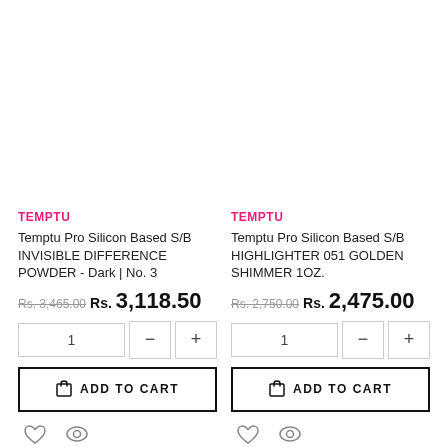TEMPTU
Temptu Pro Silicon Based S/B INVISIBLE DIFFERENCE POWDER - Dark | No. 3
Rs. 3,465.00 Rs. 3,118.50
TEMPTU
Temptu Pro Silicon Based S/B HIGHLIGHTER 051 GOLDEN SHIMMER 1OZ.
Rs. 2,750.00 Rs. 2,475.00